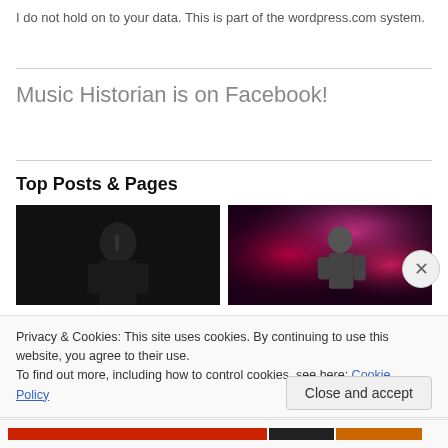I do not hold on to your data. This is part of the wordpress.com system.
Music Historian is on Facebook!
Top Posts & Pages
[Figure (photo): Two side-by-side concert/performance photos. Left: dark photo of a person (singer) against black background. Right: colorful stage photo with pink/purple/red lighting of a performer.]
Privacy & Cookies: This site uses cookies. By continuing to use this website, you agree to their use.
To find out more, including how to control cookies, see here: Cookie Policy
Close and accept